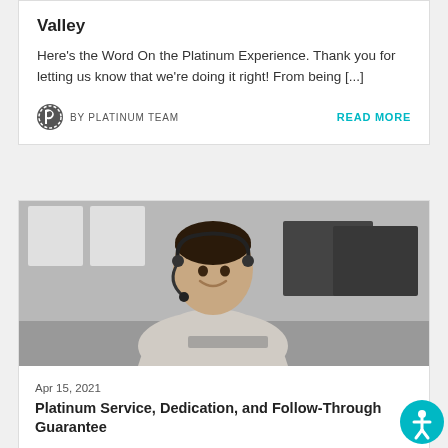Valley
Here's the Word On the Platinum Experience. Thank you for letting us know that we're doing it right! From being [...]
BY PLATINUM TEAM
READ MORE
[Figure (photo): Black and white photo of a smiling woman wearing a headset at a call center, with computer monitors visible in the background.]
Apr 15, 2021
Platinum Service, Dedication, and Follow-Through Guarantee
Above and beyond specific home warranty plans, we want to share